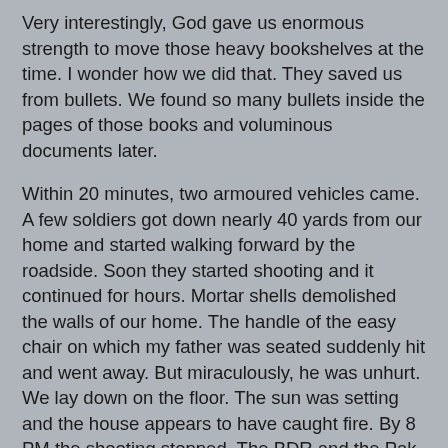Very interestingly, God gave us enormous strength to move those heavy bookshelves at the time. I wonder how we did that. They saved us from bullets. We found so many bullets inside the pages of those books and voluminous documents later.
Within 20 minutes, two armoured vehicles came. A few soldiers got down nearly 40 yards from our home and started walking forward by the roadside. Soon they started shooting and it continued for hours. Mortar shells demolished the walls of our home. The handle of the easy chair on which my father was seated suddenly hit and went away. But miraculously, he was unhurt. We lay down on the floor. The sun was setting and the house appears to have caught fire. By 8 PM the shooting stopped. The BDR and the Pak army left. We could see couples of roadside shanty stores burning. There was not a single human being around. All was very quiet. We were extremely tired and exhausted. I don't know when I slept on the floor. At midnight, I wake up as rainwater was falling on me. Then we could realize that the rooftop of the house had been blown away at the mortar attacks. Before dawn a couple of people showed up and they were